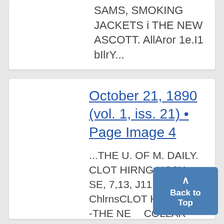SAMS, SMOKING JACKETS i THE NEW ASCOTT. AllAror 1e.I1 bIlrY...
October 21, 1890 (vol. 1, iss. 21) • Page Image 4
...THE U. OF M. DAILY. CLOT HIRNG HO0U SE, 7,13, J11 7/ ChlrnsCLOT HING i! '1 i -THE NEW COLLAR- Tsh...